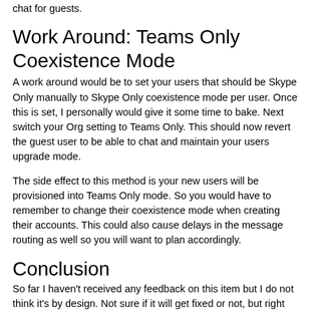chat for guests.
Work Around: Teams Only Coexistence Mode
A work around would be to set your users that should be Skype Only manually to Skype Only coexistence mode per user. Once this is set, I personally would give it some time to bake. Next switch your Org setting to Teams Only. This should now revert the guest user to be able to chat and maintain your users upgrade mode.
The side effect to this method is your new users will be provisioned into Teams Only mode. So you would have to remember to change their coexistence mode when creating their accounts. This could also cause delays in the message routing as well so you will want to plan accordingly.
Conclusion
So far I haven't received any feedback on this item but I do not think it's by design. Not sure if it will get fixed or not, but right now the work around is the only method for allowing